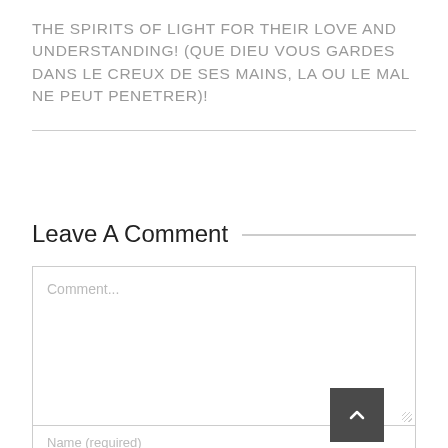THE SPIRITS OF LIGHT FOR THEIR LOVE AND UNDERSTANDING! (QUE DIEU VOUS GARDES DANS LE CREUX DE SES MAINS, LA OU LE MAL NE PEUT PENETRER)!
Leave A Comment
Comment...
Name (required)